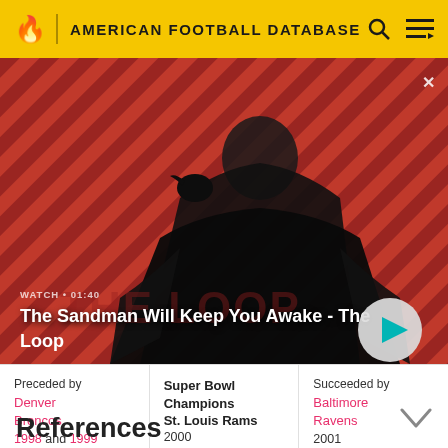AMERICAN FOOTBALL DATABASE
[Figure (screenshot): Hero banner showing 'The Sandman Will Keep You Awake - The Loop' with a person in dark clothing and a raven, on a red diagonal-stripe background. Includes WATCH • 01:40 label and a play button.]
| Preceded by | Super Bowl Champions | Succeeded by |
| --- | --- | --- |
| Denver Broncos 1998 and 1999 | St. Louis Rams 2000 | Baltimore Ravens 2001 |
References